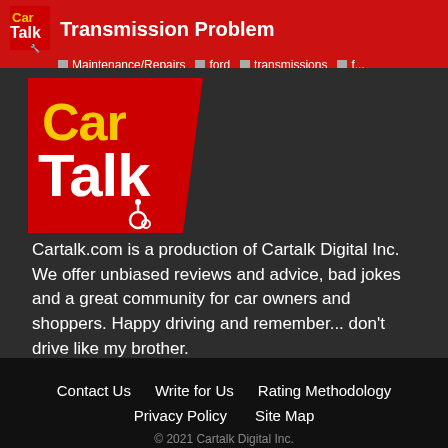Transmission Problem | Maintenance/Repairs | ford | transmissions | f...
[Figure (logo): Car Talk logo - red trapezoid shape with 'Car Talk' text in yellow and white, with a small car graphic]
Cartalk.com is a production of Cartalk Digital Inc. We offer unbiased reviews and advice, bad jokes and a great community for car owners and shoppers. Happy driving and remember... don't drive like my brother.
Contact Us   Write for Us   Rating Methodology   Privacy Policy   Site Map   © 2021 Cartalk Digital Inc.